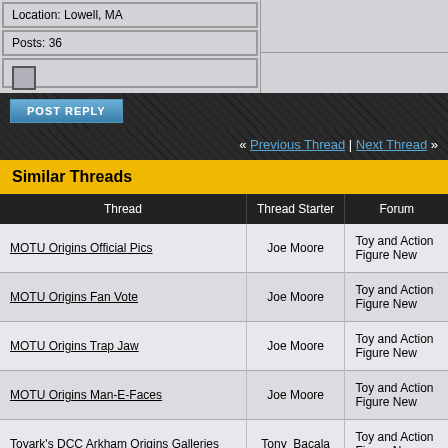Location: Lowell, MA
Posts: 36
POST REPLY
« Previous Thread | Next Thread »
Similar Threads
| Thread | Thread Starter | Forum |
| --- | --- | --- |
| MOTU Origins Official Pics | Joe Moore | Toy and Action Figure New... |
| MOTU Origins Fan Vote | Joe Moore | Toy and Action Figure New... |
| MOTU Origins Trap Jaw | Joe Moore | Toy and Action Figure New... |
| MOTU Origins Man-E-Faces | Joe Moore | Toy and Action Figure New... |
| Toyark's DCC Arkham Origins Galleries | Tony_Bacala | Toy and Action Figure New... |